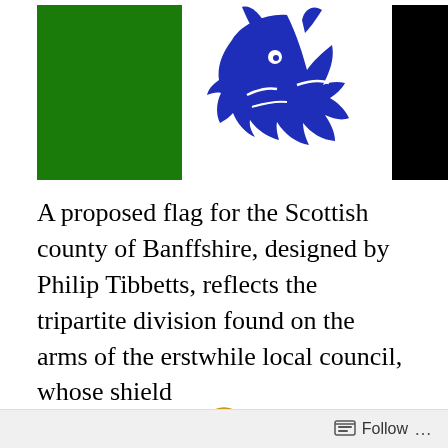[Figure (illustration): A proposed flag for the Scottish county of Banffshire showing three panels: a solid green rectangle on the left, a blue wolf/lion head emblem in the center on white background, and a solid black rectangle on the right.]
A proposed flag for the Scottish county of Banffshire, designed by Philip Tibbetts, reflects the tripartite division found on the arms of the erstwhile local council, whose shield
[Figure (illustration): A heraldic crown illustration in green with yellow/gold floral or thistle decorations, sitting atop what appears to be a shield with green, white and purple sections — partially visible, cropped at bottom.]
Follow ...